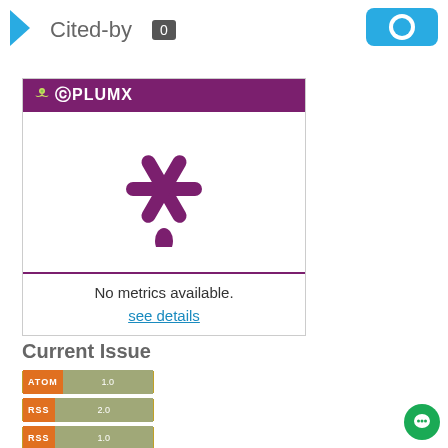Cited-by  0
[Figure (logo): PlumX Metrics widget with purple header, asterisk/snowflake logo in purple on white background, purple bottom border, showing 'No metrics available.' and 'see details' link]
No metrics available.
see details
Current Issue
[Figure (logo): ATOM 1.0 feed badge - orange ATOM label with gray-green 1.0 version]
[Figure (logo): RSS 2.0 feed badge - orange RSS label with gray-green 2.0 version]
[Figure (logo): RSS 1.0 feed badge - orange RSS label with gray-green 1.0 version]